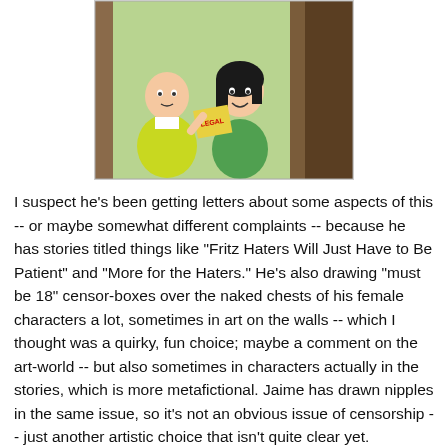[Figure (illustration): Comic book panel showing two characters at a doorway — a bald man in a yellow-green jacket on the left and a dark-haired woman in a green top on the right, appearing to exchange something.]
I suspect he's been getting letters about some aspects of this -- or maybe somewhat different complaints -- because he has stories titled things like "Fritz Haters Will Just Have to Be Patient" and "More for the Haters." He's also drawing "must be 18" censor-boxes over the naked chests of his female characters a lot, sometimes in art on the walls -- which I thought was a quirky, fun choice; maybe a comment on the art-world -- but also sometimes in characters actually in the stories, which is more metafictional. Jaime has drawn nipples in the same issue, so it's not an obvious issue of censorship -- just another artistic choice that isn't quite clear yet.
But Gilbert wrote his way out of the swamp of Too Many Fritzes, and the last couple of issues sees more lightness to his work, as it opens out to more of the cast and shows changes in their lives. He's still doing the people-standing-still-and-talking-at-each-other thing, but it wouldn't be Gilbert